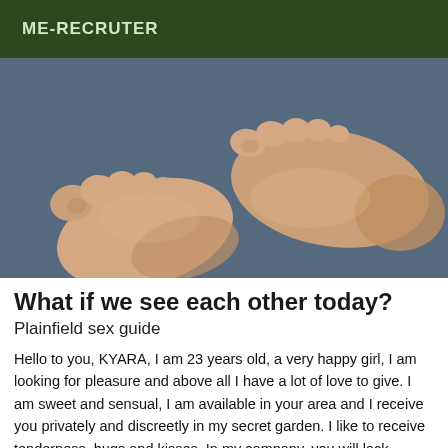ME-RECRUTER
[Figure (photo): Close-up photograph of two bare feet resting on a blue denim fabric background]
What if we see each other today?
Plainfield sex guide
Hello to you, KYARA, I am 23 years old, a very happy girl, I am looking for pleasure and above all I have a lot of love to give. I am sweet and sensual, I am available in your area and I receive you privately and discreetly in my secret garden. I like to receive tenderness, hugs and kisses. In my company, you will lack nothing and you will be full of pleasure. If you are interested in my services, please do not hesitate to contact me, you are possible to...